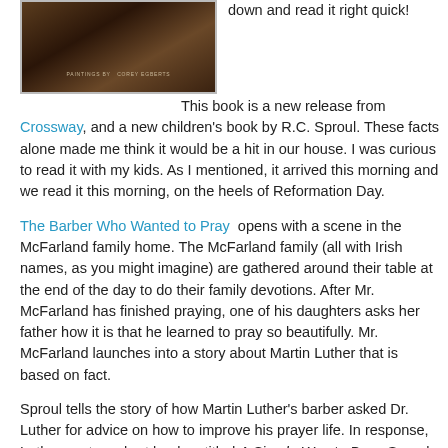[Figure (photo): Book cover image of a children's book, dark brown tones with text 'PAINTINGS BY COREY EGBERTS' at the bottom]
down and read it right quick!

This book is a new release from Crossway, and a new children's book by R.C. Sproul. These facts alone made me think it would be a hit in our house. I was curious to read it with my kids. As I mentioned, it arrived this morning and we read it this morning, on the heels of Reformation Day.

The Barber Who Wanted to Pray opens with a scene in the McFarland family home. The McFarland family (all with Irish names, as you might imagine) are gathered around their table at the end of the day to do their family devotions. After Mr. McFarland has finished praying, one of his daughters asks her father how it is that he learned to pray so beautifully. Mr. McFarland launches into a story about Martin Luther that is based on fact.

Sproul tells the story of how Martin Luther's barber asked Dr. Luther for advice on how to improve his prayer life. In response, Luther wrote a short book entitled A Simple Way to Pray. Sproul sets up a fictional conversation between the